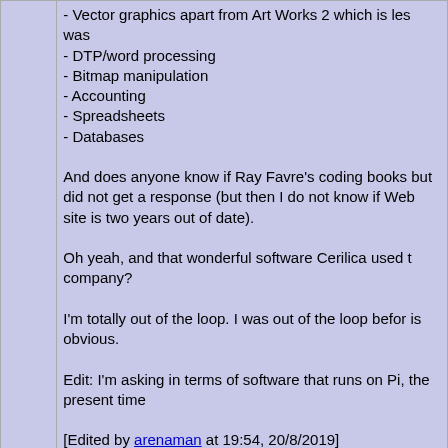- Vector graphics apart from Art Works 2 which is les was
- DTP/word processing
- Bitmap manipulation
- Accounting
- Spreadsheets
- Databases
And does anyone know if Ray Favre's coding books but did not get a response (but then I do not know if Web site is two years out of date).
Oh yeah, and that wonderful software Cerilica used t company?
I'm totally out of the loop. I was out of the loop befor is obvious.
Edit: I'm asking in terms of software that runs on Pi, the present time
[Edited by arenaman at 19:54, 20/8/2019]
[ Log in to reply ]
Message #124526, posted by VincceH at 08:29, 21/8/2019, in